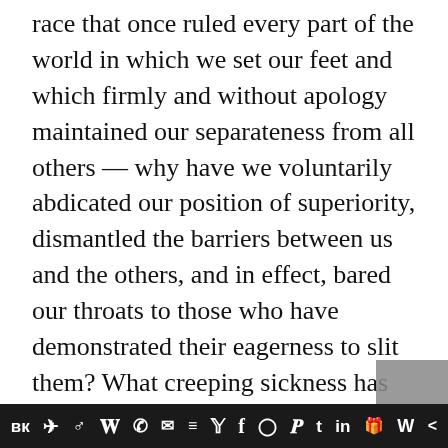race that once ruled every part of the world in which we set our feet and which firmly and without apology maintained our separateness from all others — why have we voluntarily abdicated our position of superiority, dismantled the barriers between us and the others, and in effect, bared our throats to those who have demonstrated their eagerness to slit them? What creeping sickness has overcome us in the past half century? What is the exact nature of the lethal racial weakness in us which our hereditary enemies are exploiting so adroitly, and is there a cure for it?

The answer to these questions can be approached
vk ✈ reddit WordPress WhatsApp mail layers twitter f Instagram Pinterest tumblr in gift W <